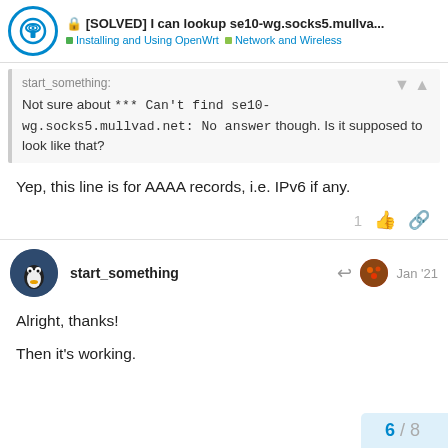[SOLVED] I can lookup se10-wg.socks5.mullva... | Installing and Using OpenWrt | Network and Wireless
start_something:
Not sure about *** Can't find se10-wg.socks5.mullvad.net: No answer though. Is it supposed to look like that?
Yep, this line is for AAAA records, i.e. IPv6 if any.
start_something  Jan '21
Alright, thanks!

Then it's working.
6 / 8